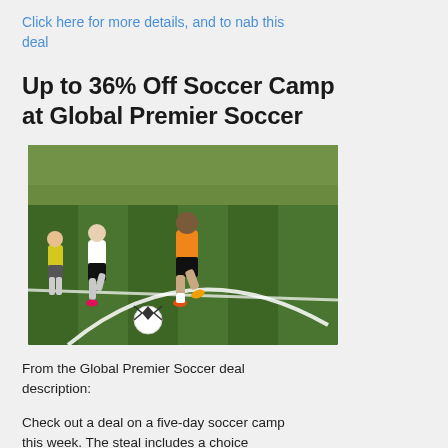Click here for more details, and to nab this deal
Up to 36% Off Soccer Camp at Global Premier Soccer
[Figure (photo): Soccer players running on a green turf field, one player in orange jersey dribbling near a white ball, field markings visible.]
From the Global Premier Soccer deal description:
Check out a deal on a five-day soccer camp this week. The steal includes a choice between a half or full camp experience for